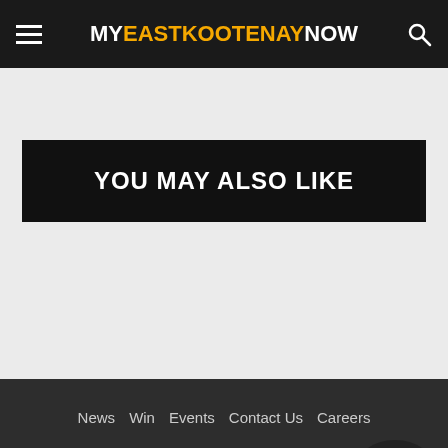MY EAST KOOTENAY NOW
YOU MAY ALSO LIKE
News  Win  Events  Contact Us  Careers